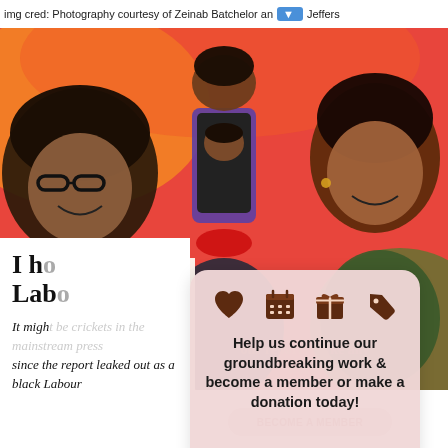img cred: Photography courtesy of Zeinab Batchelor and Jeffers
[Figure (photo): Three Black women on a red/orange background; one on left with glasses, one in center holding a phone showing a face on screen, one on the right smiling]
I ho... Labo...
It migh... since the report leaked out as a black Labour
[Figure (infographic): Popup membership/donation card with heart, calendar, gift, and tag icons above text: Help us continue our groundbreaking work & become a member or make a donation today!]
Help us continue our groundbreaking work & become a member or make a donation today!